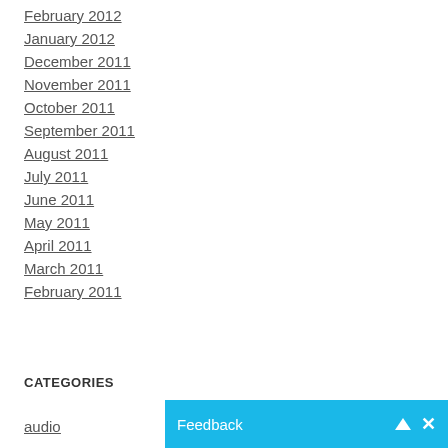February 2012
January 2012
December 2011
November 2011
October 2011
September 2011
August 2011
July 2011
June 2011
May 2011
April 2011
March 2011
February 2011
CATEGORIES
audio